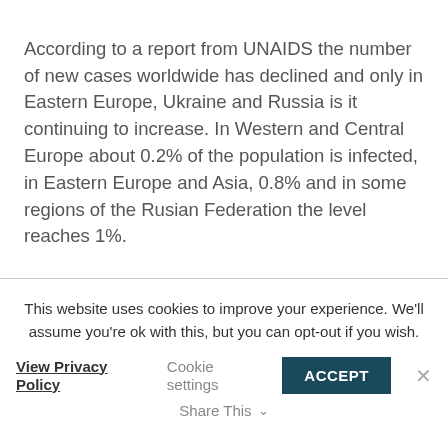According to a report from UNAIDS the number of new cases worldwide has declined and only in Eastern Europe, Ukraine and Russia is it continuing to increase. In Western and Central Europe about 0.2% of the population is infected, in Eastern Europe and Asia, 0.8% and in some regions of the Rusian Federation the level reaches 1%.
This website uses cookies to improve your experience. We'll assume you're ok with this, but you can opt-out if you wish.
View Privacy Policy   Cookie settings   ACCEPT
Share This